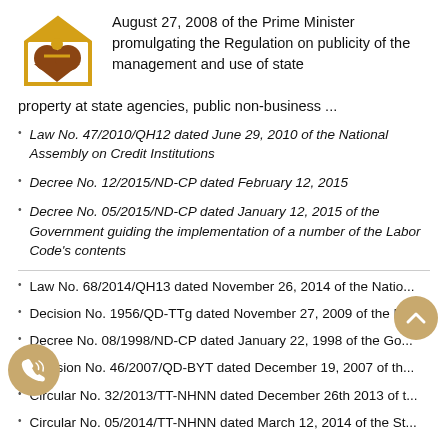August 27, 2008 of the Prime Minister promulgating the Regulation on publicity of the management and use of state property at state agencies, public non-business ...
Law No. 47/2010/QH12 dated June 29, 2010 of the National Assembly on Credit Institutions
Decree No. 12/2015/ND-CP dated February 12, 2015
Decree No. 05/2015/ND-CP dated January 12, 2015 of the Government guiding the implementation of a number of the Labor Code's contents
Law No. 68/2014/QH13 dated November 26, 2014 of the Natio...
Decision No. 1956/QD-TTg dated November 27, 2009 of the P...
Decree No. 08/1998/ND-CP dated January 22, 1998 of the Go...
Decision No. 46/2007/QD-BYT dated December 19, 2007 of th...
Circular No. 32/2013/TT-NHNN dated December 26th 2013 of t...
Circular No. 05/2014/TT-NHNN dated March 12, 2014 of the St...